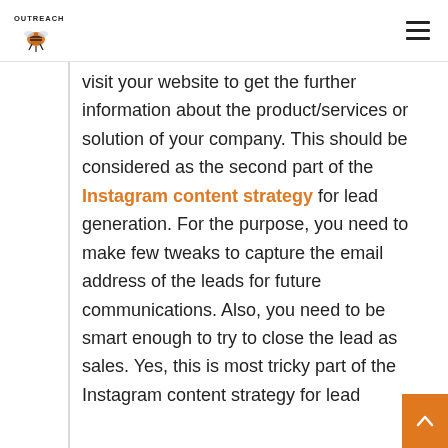Outreach Bee — navigation header with logo and hamburger menu
visit your website to get the further information about the product/services or solution of your company. This should be considered as the second part of the Instagram content strategy for lead generation. For the purpose, you need to make few tweaks to capture the email address of the leads for future communications. Also, you need to be smart enough to try to close the lead as sales. Yes, this is most tricky part of the Instagram content strategy for lead